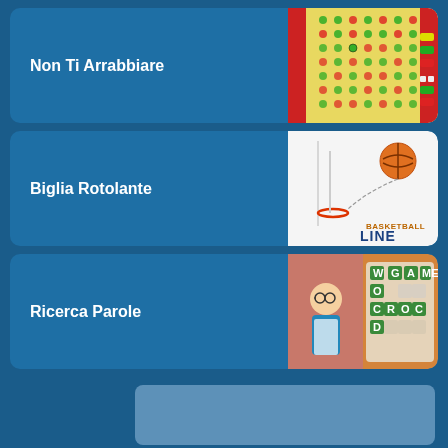Non Ti Arrabbiare
[Figure (screenshot): Game thumbnail for Non Ti Arrabbiare - board game with colorful tokens]
Biglia Rotolante
[Figure (screenshot): Game thumbnail for Biglia Rotolante - Basketball Line game]
Ricerca Parole
[Figure (screenshot): Game thumbnail for Ricerca Parole - Word game Crocword]
Impostazioni della privacy
Informativa privacy
Informativa cookies